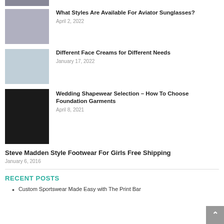[Figure (photo): Partial thumbnail at top, cropped]
[Figure (photo): Aviator sunglasses photo thumbnail]
What Styles Are Available For Aviator Sunglasses?
April 2, 2022
[Figure (photo): Woman touching face, face creams thumbnail]
Different Face Creams for Different Needs
January 17, 2022
[Figure (photo): Woman in black shapewear bodysuit thumbnail]
Wedding Shapewear Selection – How To Choose Foundation Garments
April 8, 2021
Steve Madden Style Footwear For Girls Free Shipping
January 6, 2016
RECENT POSTS
Custom Sportswear Made Easy with The Print Bar